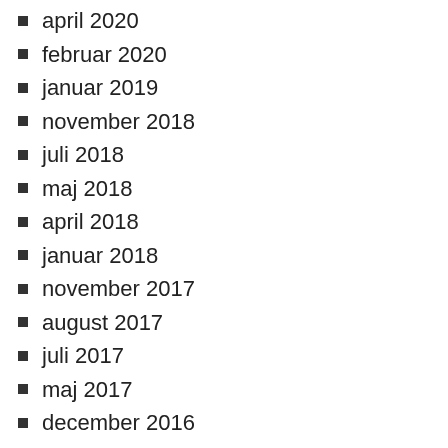april 2020
februar 2020
januar 2019
november 2018
juli 2018
maj 2018
april 2018
januar 2018
november 2017
august 2017
juli 2017
maj 2017
december 2016
november 2015
september 2015
august 2015